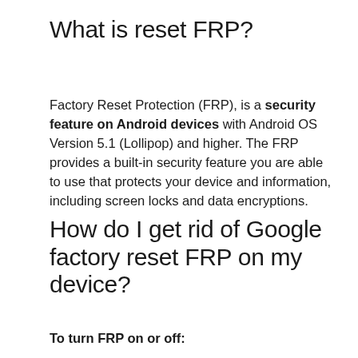What is reset FRP?
Factory Reset Protection (FRP), is a security feature on Android devices with Android OS Version 5.1 (Lollipop) and higher. The FRP provides a built-in security feature you are able to use that protects your device and information, including screen locks and data encryptions.
How do I get rid of Google factory reset FRP on my device?
To turn FRP on or off: